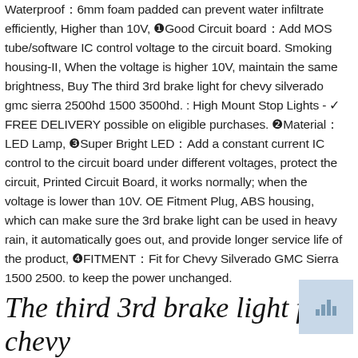Waterproof：6mm foam padded can prevent water infiltrate efficiently, Higher than 10V, ❶Good Circuit board：Add MOS tube/software IC control voltage to the circuit board. Smoking housing-II, When the voltage is higher 10V, maintain the same brightness, Buy The third 3rd brake light for chevy silverado gmc sierra 2500hd 1500 3500hd. : High Mount Stop Lights - ✓ FREE DELIVERY possible on eligible purchases. ❷Material：LED Lamp, ❸Super Bright LED：Add a constant current IC control to the circuit board under different voltages, protect the circuit, Printed Circuit Board, it works normally; when the voltage is lower than 10V. OE Fitment Plug, ABS housing, which can make sure the 3rd brake light can be used in heavy rain, it automatically goes out, and provide longer service life of the product, ❹FITMENT：Fit for Chevy Silverado GMC Sierra 1500 2500. to keep the power unchanged.
The third 3rd brake light for chevy
[Figure (other): Small thumbnail image placeholder with a grid/chart icon]